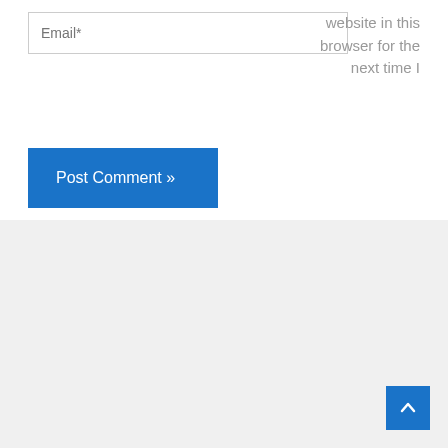Email*
website in this browser for the next time I comment.
Post Comment »
[Figure (other): Scroll to top button with upward chevron arrow, blue square button in bottom right corner]